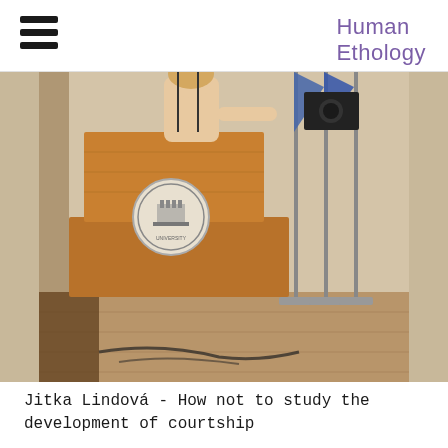Human Ethology
[Figure (photo): A woman standing at a wooden podium with an institutional seal/medallion, presenting at a conference. Behind her are flag stands with blue fabric. The setting appears to be an academic or conference hall with wooden floors.]
Jitka Lindová - How not to study the development of courtship